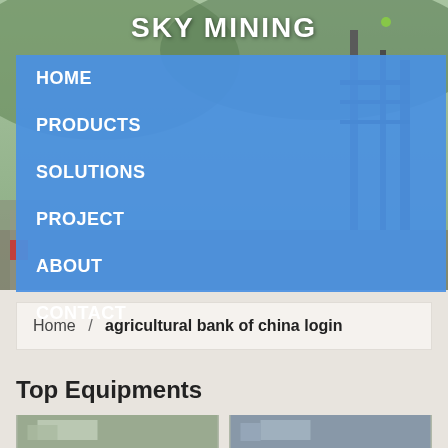[Figure (photo): Industrial mining facility background photo with sky, hills, and mechanical structures]
SKY MINING
HOME
PRODUCTS
SOLUTIONS
PROJECT
ABOUT
CONTACT
Home  /  agricultural bank of china login
Top Equipments
[Figure (photo): Industrial equipment photo 1]
[Figure (photo): Industrial equipment photo 2]